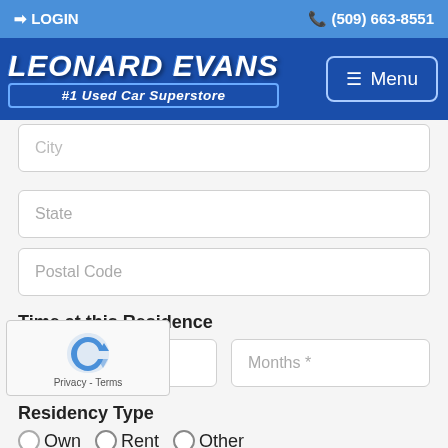LOGIN  (509) 663-8551
[Figure (logo): Leonard Evans #1 Used Car Superstore logo with Menu button]
City
State
Postal Code
Time at this Residence
Years *
Months *
Residency Type
Own  Rent  Other
Total monthly housing payment